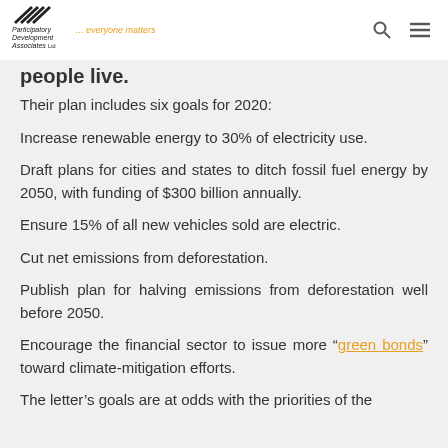Participatory Development Associates Ltd. ... everyone matters
people live.
Their plan includes six goals for 2020:
Increase renewable energy to 30% of electricity use.
Draft plans for cities and states to ditch fossil fuel energy by 2050, with funding of $300 billion annually.
Ensure 15% of all new vehicles sold are electric.
Cut net emissions from deforestation.
Publish plan for halving emissions from deforestation well before 2050.
Encourage the financial sector to issue more “green bonds” toward climate-mitigation efforts.
The letter’s goals are at odds with the priorities of the